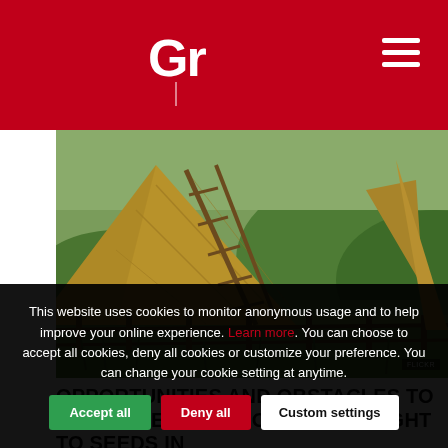GR
[Figure (photo): Rural Romanian landscape with a large hay stack and wooden ladder, rustic wooden fence in the foreground, green rolling hills in the background. Photo credit overlay visible.]
OPPORTUNITIES AND OBSTACLES TO THE IMPLEMENTATION OF THE RIGHT TO SEEDS IN ROMANIA
This website uses cookies to monitor anonymous usage and to help improve your online experience. Learn more. You can choose to accept all cookies, deny all cookies or customize your preference. You can change your cookie setting at anytime.